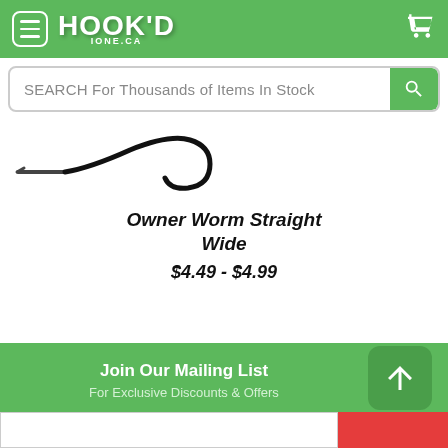HOOK'D - IONE.CA
SEARCH For Thousands of Items In Stock
[Figure (photo): Product image of Owner Worm Straight Wide fishing hook, showing a large black curved hook against white background]
Owner Worm Straight Wide
$4.49 - $4.99
Join Our Mailing List
For Exclusive Discounts & Offers